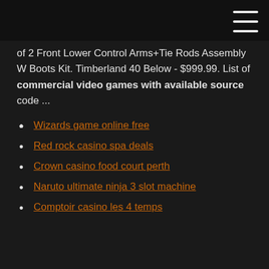of 2 Front Lower Control Arms+Tie Rods Assembly W Boots Kit. Timberland 40 Below - $999.99. List of commercial video games with available source code ...
Wizards game online free
Red rock casino spa deals
Crown casino food court perth
Naruto ultimate ninja 3 slot machine
Comptoir casino les 4 temps